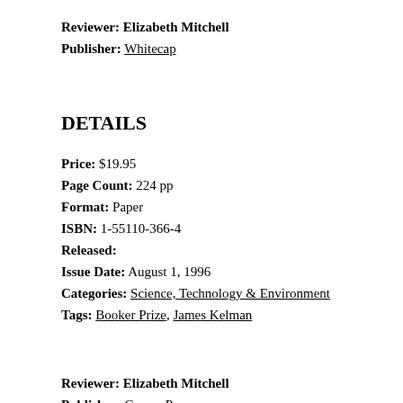Reviewer: Elizabeth Mitchell
Publisher: Whitecap
DETAILS
Price: $19.95
Page Count: 224 pp
Format: Paper
ISBN: 1-55110-366-4
Released:
Issue Date: August 1, 1996
Categories: Science, Technology & Environment
Tags: Booker Prize, James Kelman
Reviewer: Elizabeth Mitchell
Publisher: Caroor Press